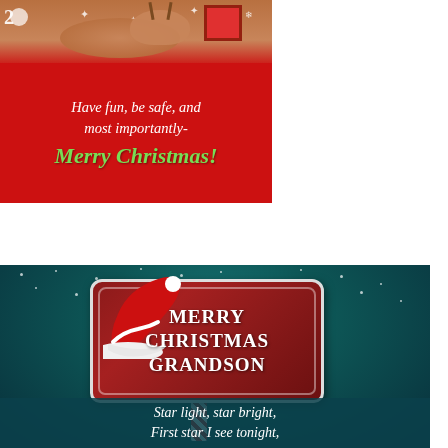[Figure (illustration): Christmas card with reindeer and gifts on red background at top-left, with text 'Have fun, be safe, and most importantly- Merry Christmas!']
Have fun, be safe, and most importantly-
Merry Christmas!
[Figure (illustration): Christmas scene with teal/dark background showing snow, a wooden sign reading 'MERRY CHRISTMAS GRANDSON' topped with a Santa hat on a candy cane pole, and text at bottom 'Star light, star bright, First star I see tonight.']
Star light, star bright, First star I see tonight,